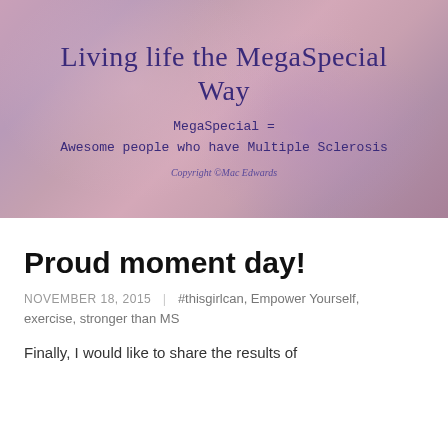[Figure (illustration): Blog header banner with purple-pink gradient background. Contains blog title 'Living life the MegaSpecial Way' in large serif font, subtitle in monospace 'MegaSpecial = Awesome people who have Multiple Sclerosis', and copyright notice 'Copyright ©Mac Edwards'.]
Proud moment day!
NOVEMBER 18, 2015 | #thisgirlcan, Empower Yourself, exercise, stronger than MS
Finally, I would like to share the results of